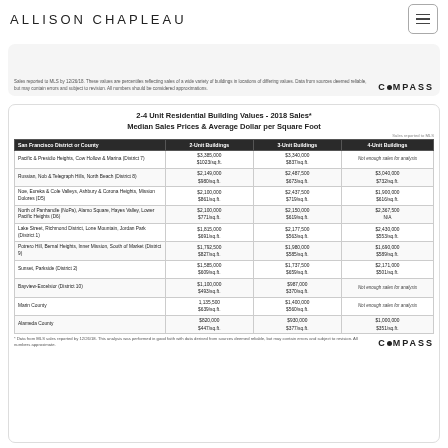ALLISON CHAPLEAU
Sales reported to MLS by 12/26/18. These values are percentiles reflecting sales of a wide variety of buildings in locations of differing values. Data from sources deemed reliable, but may contain errors and subject to revision. All numbers should be considered approximations. COMPASS
2-4 Unit Residential Building Values - 2018 Sales*
Median Sales Prices & Average Dollar per Square Foot
| San Francisco District or County | 2-Unit Buildings | 3-Unit Buildings | 4-Unit Buildings |
| --- | --- | --- | --- |
| Pacific & Presidio Heights, Cow Hollow & Marina (District 7) | $3,385,000
$1023/sq.ft. | $3,340,000
$837/sq.ft. | Not enough sales for analysis |
| Russian, Nob & Telegraph Hills, North Beach (District 8) | $2,149,000
$980/sq.ft. | $2,487,500
$673/sq.ft. | $3,040,000
$732/sq.ft. |
| Noe, Eureka & Cole Valleys, Ashbury & Corona Heights, Mission Dolores (D5) | $2,100,000
$861/sq.ft. | $2,437,500
$719/sq.ft. | $1,900,000
$616/sq.ft. |
| North of Panhandle (NoPa), Alamo Square, Hayes Valley, Lower Pacific Heights (D6) | $2,100,000
$771/sq.ft. | $2,150,000
$619/sq.ft. | $2,367,500
N/A |
| Lake Street, Richmond District, Lone Mountain, Jordan Park (District 1) | $1,815,000
$691/sq.ft. | $2,177,500
$563/sq.ft. | $2,430,000
$553/sq.ft. |
| Potrero Hill, Bernal Heights, Inner Mission, South of Market (District 9) | $1,792,500
$827/sq.ft. | $1,980,000
$585/sq.ft. | $1,690,000
$589/sq.ft. |
| Sunset, Parkside (District 2) | $1,585,000
$609/sq.ft. | $1,737,500
$659/sq.ft. | $2,171,000
$501/sq.ft. |
| Bayview-Excelsior (District 10) | $1,100,000
$493/sq.ft. | $987,000
$370/sq.ft. | Not enough sales for analysis |
| Marin County | 1,135,500
$639/sq.ft. | $1,400,000
$560/sq.ft. | Not enough sales for analysis |
| Alameda County | $820,000
$447/sq.ft. | $930,000
$377/sq.ft. | $1,000,000
$351/sq.ft. |
* Data from MLS sales reported by 12/26/18. This analysis was performed in good faith with data derived from sources deemed reliable, but may contain errors and subject to revision. All numbers approximate.